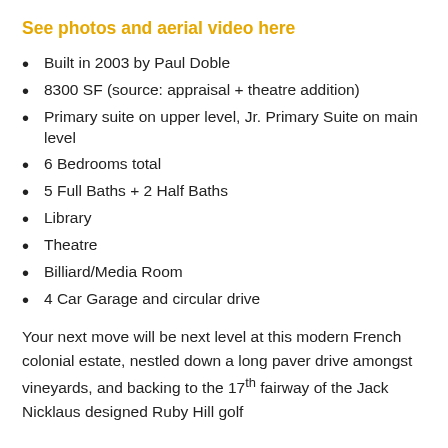See photos and aerial video here
Built in 2003 by Paul Doble
8300 SF (source: appraisal + theatre addition)
Primary suite on upper level, Jr. Primary Suite on main level
6 Bedrooms total
5 Full Baths + 2 Half Baths
Library
Theatre
Billiard/Media Room
4 Car Garage and circular drive
Your next move will be next level at this modern French colonial estate, nestled down a long paver drive amongst vineyards, and backing to the 17th fairway of the Jack Nicklaus designed Ruby Hill golf